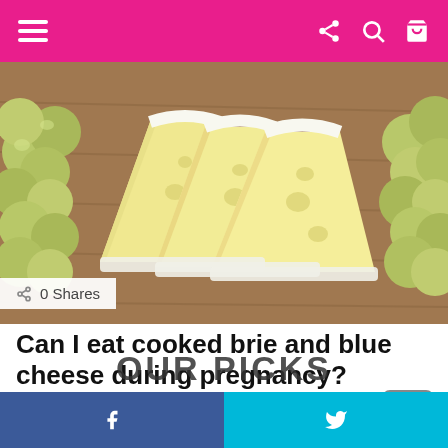Navigation bar with hamburger menu, share, search, and cart icons
[Figure (photo): Sliced brie cheese wedges fanned out on a wooden board, surrounded by green grapes. White rind visible on cheese edges.]
0 Shares
Can I eat cooked brie and blue cheese during pregnancy?
by admin • 6 years ago
OUR PICKS
f  (Facebook share button) | Twitter bird icon (Twitter share button)